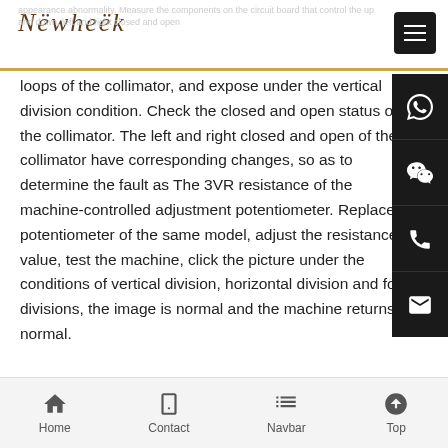Newheek
appearance abnormality. Measure the components on the circuit board that control the up and down, left and right closed and open loops of the collimator, and expose under the vertical division condition. Check the closed and open status of the collimator. The left and right closed and open of the collimator have corresponding changes, so as to determine the fault as The 3VR resistance of the machine-controlled adjustment potentiometer. Replace potentiometer of the same model, adjust the resistance value, test the machine, click the picture under the conditions of vertical division, horizontal division and four divisions, the image is normal and the machine returns to normal.
Home  Contact  Navbar  Top